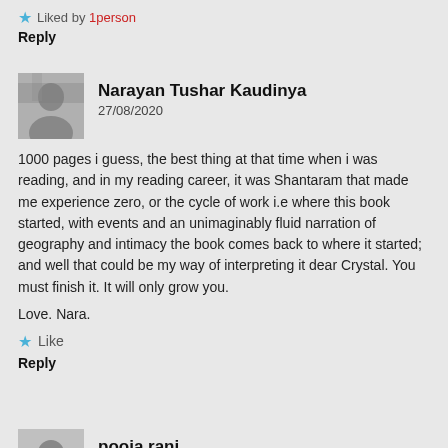★ Liked by 1person
Reply
Narayan Tushar Kaudinya
27/08/2020
1000 pages i guess, the best thing at that time when i was reading, and in my reading career, it was Shantaram that made me experience zero, or the cycle of work i.e where this book started, with events and an unimaginably fluid narration of geography and intimacy the book comes back to where it started; and well that could be my way of interpreting it dear Crystal. You must finish it. It will only grow you.
Love. Nara.
★ Like
Reply
pooja rani
26/08/2020